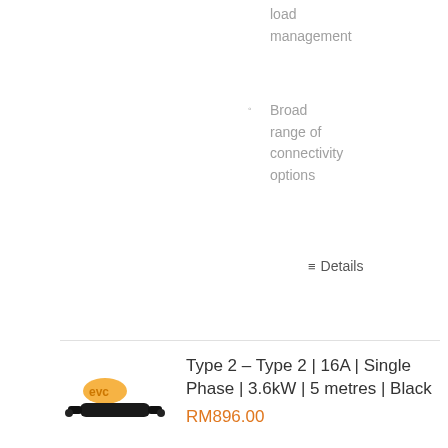load management
Broad range of connectivity options
☰ Details
[Figure (photo): EV charging cable product image, black cable with connectors]
Type 2 – Type 2 | 16A | Single Phase | 3.6kW | 5 metres | Black
RM896.00